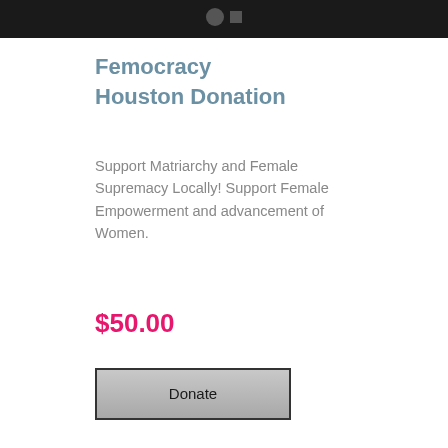[Figure (screenshot): Dark top navigation bar with small circular and rectangular icons centered]
Femocracy Houston Donation
Support Matriarchy and Female Supremacy Locally! Support Female Empowerment and advancement of Women.
$50.00
[Figure (other): Donate button with gray gradient background and dark border]
[Figure (other): Partial view of a user avatar/profile icon (circular head silhouette) inside a bordered box]